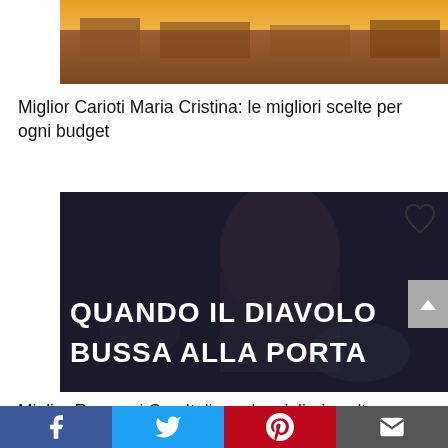[Figure (photo): Top portion of a book cover image with warm orange/yellow tones, partially visible]
Miglior Carioti Maria Cristina: le migliori scelte per ogni budget
[Figure (photo): Book cover: 'Quando il Diavolo Bussa alla Porta' showing a person in dark clothing with large white bold text on dark background]
Miglior Romanzi Gay Italiano: le migliori scelte per ogni budget
Facebook | Twitter | Pinterest | Email